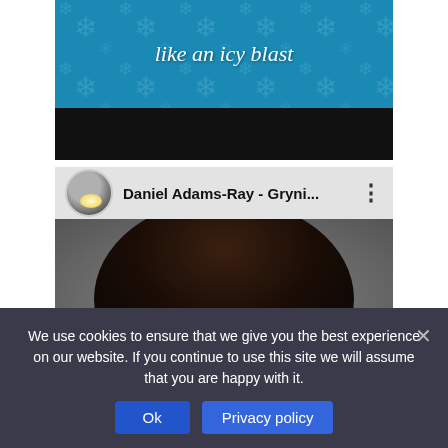[Figure (screenshot): Top portion of a social media or blog page showing a blue snowflake-patterned image with white italic text 'like an icy blast' and a black bar below it]
[Figure (screenshot): Social media post card with a circular avatar, username 'Daniel Adams-Ray - Gryni...' with a three-dot menu icon, and a photo of a person with dark hair and a colorful scarf]
We use cookies to ensure that we give you the best experience on our website. If you continue to use this site we will assume that you are happy with it.
Ok
Privacy policy